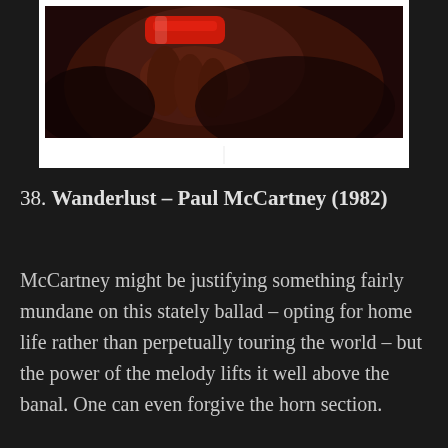[Figure (photo): Partial polaroid photograph showing a close-up of a person holding a red object near their mouth/chin area, dark background]
38. Wanderlust – Paul McCartney (1982)
McCartney might be justifying something fairly mundane on this stately ballad – opting for home life rather than perpetually touring the world – but the power of the melody lifts it well above the banal. One can even forgive the horn section.